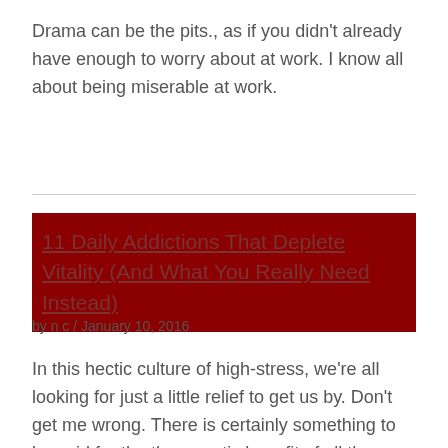Drama can be the pits., as if you didn't already have enough to worry about at work. I know all about being miserable at work.
11 Daily Addictions That Deplete Vitality (And What You Really Need Instead)
by n c / January 10, 2016
In this hectic culture of high-stress, we're all looking for just a little relief to get us by. Don't get me wrong. There is certainly something to be said for the therapeutic benefit of all these activities listed here. A single glass of red wine, for example, can unwind the day's tension from our clenched shoulders...